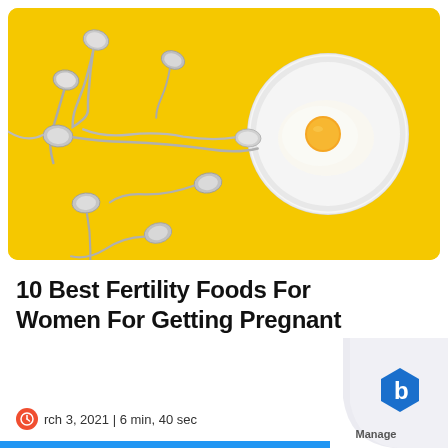[Figure (photo): Yellow background photo styled as conceptual fertility image: multiple silver spoons shaped like sperm cells pointing toward a white plate with a fried egg on it, representing fertilization concept.]
10 Best Fertility Foods For Women For Getting Pregnant
rch 3, 2021 | 6 min, 40 sec
[Figure (logo): Manage logo with hexagon 'b' icon and curled page corner effect in bottom right.]